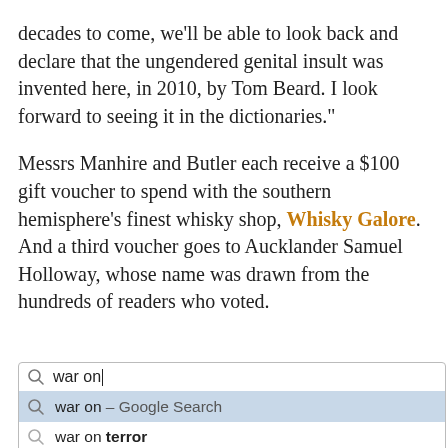decades to come, we'll be able to look back and declare that the ungendered genital insult was invented here, in 2010, by Tom Beard. I look forward to seeing it in the dictionaries."
Messrs Manhire and Butler each receive a $100 gift voucher to spend with the southern hemisphere's finest whisky shop, Whisky Galore. And a third voucher goes to Aucklander Samuel Holloway, whose name was drawn from the hundreds of readers who voted.
[Figure (screenshot): Google search autocomplete box showing 'war on' typed in the search field, with suggestions: 'war on – Google Search' (highlighted in blue), 'war on terror', 'war on drugs', 'war on christmas']